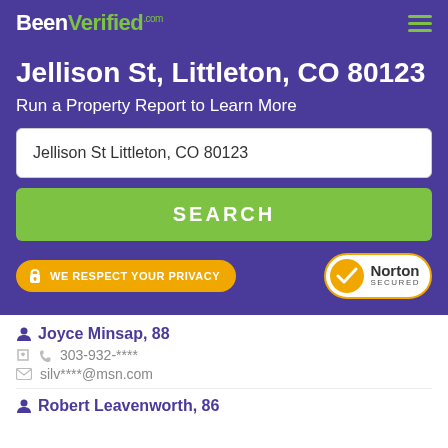BeenVerified.com
Jellison St, Littleton, CO 80123
Run a Property Report to Learn More
Jellison St Littleton, CO 80123
SEARCH
WE RESPECT YOUR PRIVACY
[Figure (logo): Norton Secured badge with yellow checkmark]
Joyce Minsap, 88
303-932-****
silv****@msn.com
Robert Leavenworth, 86